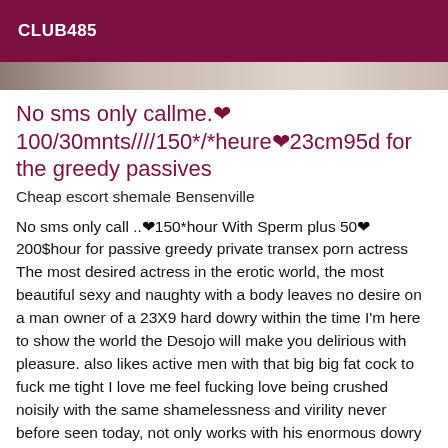CLUB485
[Figure (photo): Partial photo strip showing a room interior, cropped at top of content area]
No sms only callme.❤100/30mnts////150*/*heure❤23cm95d for the greedy passives
Cheap escort shemale Bensenville
No sms only call ..❤150*hour With Sperm plus 50❤ 200$hour for passive greedy private transex porn actress The most desired actress in the erotic world, the most beautiful sexy and naughty with a body leaves no desire on a man owner of a 23X9 hard dowry within the time I'm here to show the world the Desojo will make you delirious with pleasure. also likes active men with that big big fat cock to fuck me tight I love me feel fucking love being crushed noisily with the same shamelessness and virility never before seen today, not only works with his enormous dowry also works with my two beautiful pairs of buttocks that, so that you do not resist I'm like